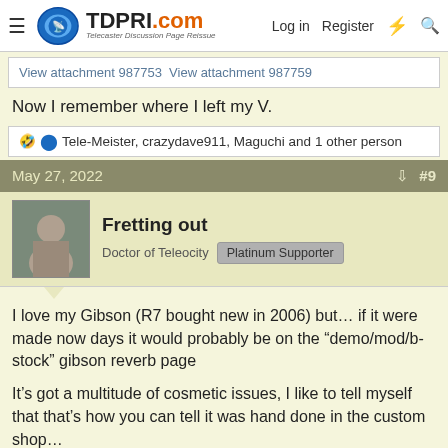TDPRI.com Telecaster Discussion Page Reissue — Log in  Register
View attachment 987753  View attachment 987759
Now I remember where I left my V.
🤣 🔵 Tele-Meister, crazydave911, Maguchi and 1 other person
May 27, 2022  #9
Fretting out
Doctor of Teleocity  Platinum Supporter
I love my Gibson (R7 bought new in 2006) but… if it were made now days it would probably be on the "demo/mod/b-stock" gibson reverb page
It's got a multitude of cosmetic issues, I like to tell myself that that's how you can tell it was hand done in the custom shop…
It plays beautifully just cosmetic stuff, metal filings in the clear coat, sander burns, fingerprint in glue on the fingerboard etc.